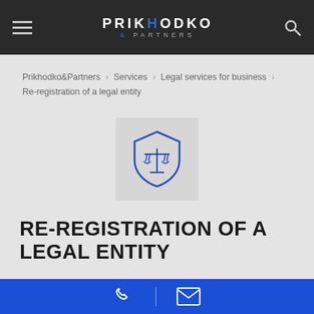PRIKHODKO & PARTNERS — Navigation header
Prikhodko&Partners > Services > Legal services for business > Re-registration of a legal entity
[Figure (illustration): Blue shield icon with scales of justice, legal services icon on grey background]
RE-REGISTRATION OF A LEGAL ENTITY
[Figure (photo): Partial photo of a person, bottom portion visible]
Phone and email contact bar at bottom